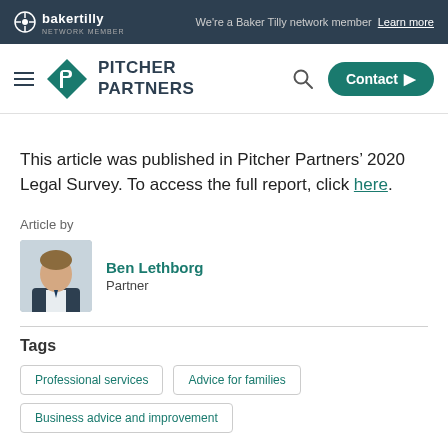Baker Tilly Network Member — We're a Baker Tilly network member Learn more
[Figure (logo): Pitcher Partners logo with teal diamond icon and company name]
This article was published in Pitcher Partners' 2020 Legal Survey. To access the full report, click here.
Article by
[Figure (photo): Headshot of Ben Lethborg wearing a dark suit jacket]
Ben Lethborg
Partner
Tags
Professional services
Advice for families
Business advice and improvement